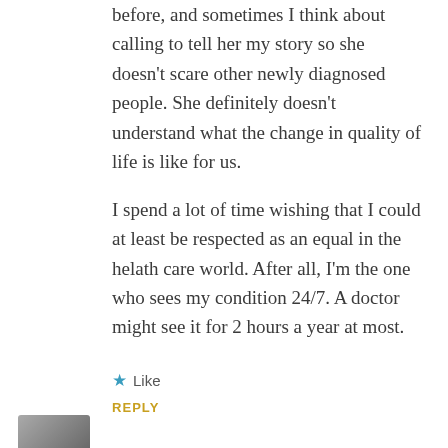before, and sometimes I think about calling to tell her my story so she doesn't scare other newly diagnosed people. She definitely doesn't understand what the change in quality of life is like for us.

I spend a lot of time wishing that I could at least be respected as an equal in the helath care world. After all, I'm the one who sees my condition 24/7. A doctor might see it for 2 hours a year at most.
★ Like
REPLY
[Figure (photo): Partial avatar/profile image thumbnail at bottom left corner]